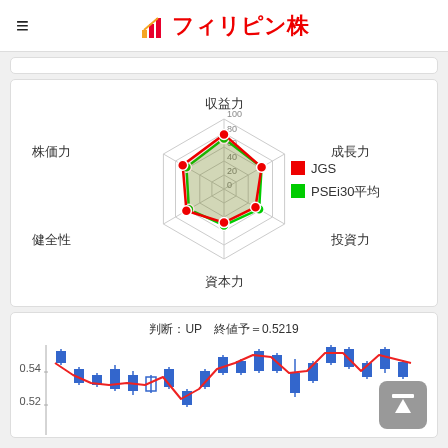フィリピン株
[Figure (radar-chart): Radar chart comparing JGS vs PSEi30平均 across 6 axes: 収益力, 成長力, 投資力, 資本力, 健全性, 株価力. Scale 0-100 with rings at 20,40,60,80,100.]
[Figure (continuous-plot): Candlestick chart with red line overlay. Title: 判断：UP　終値予＝0.5219. Y-axis shows 0.52 and 0.54 labels. Blue candlesticks with red trend line.]